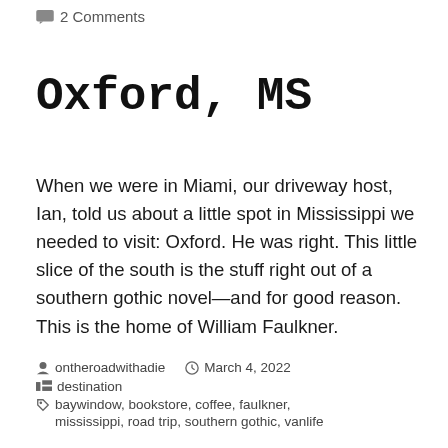2 Comments
Oxford, MS
When we were in Miami, our driveway host, Ian, told us about a little spot in Mississippi we needed to visit: Oxford. He was right. This little slice of the south is the stuff right out of a southern gothic novel—and for good reason. This is the home of William Faulkner.
ontheroadwithadie   March 4, 2022
destination
baywindow, bookstore, coffee, faulkner,
mississippi, road trip, southern gothic, vanlife